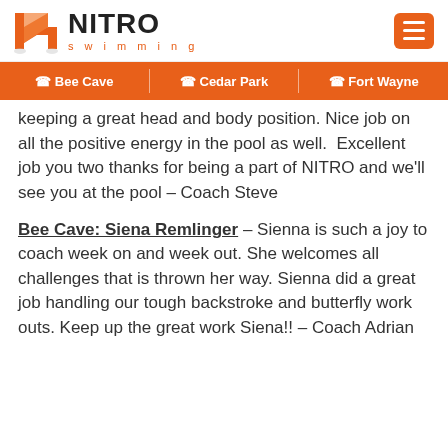NITRO swimming
keeping a great head and body position. Nice job on all the positive energy in the pool as well.  Excellent job you two thanks for being a part of NITRO and we'll see you at the pool – Coach Steve
Bee Cave: Siena Remlinger – Sienna is such a joy to coach week on and week out. She welcomes all challenges that is thrown her way. Sienna did a great job handling our tough backstroke and butterfly work outs. Keep up the great work Siena!! – Coach Adrian